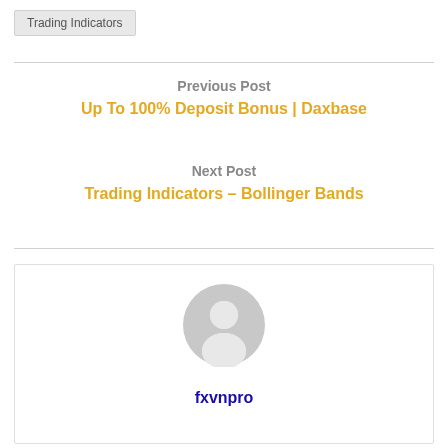Trading Indicators
Previous Post
Up To 100% Deposit Bonus | Daxbase
Next Post
Trading Indicators – Bollinger Bands
[Figure (illustration): Generic user avatar icon — circular grey silhouette of a person]
fxvnpro